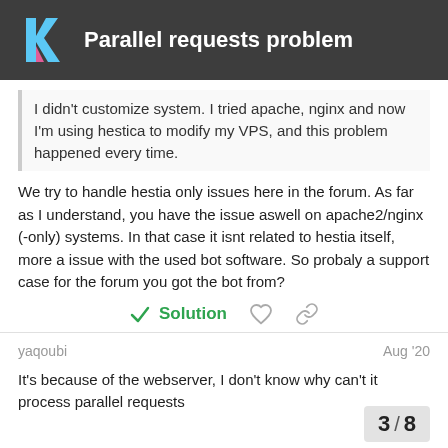Parallel requests problem
I didn't customize system. I tried apache, nginx and now I'm using hestica to modify my VPS, and this problem happened every time.
We try to handle hestia only issues here in the forum. As far as I understand, you have the issue aswell on apache2/nginx (-only) systems. In that case it isnt related to hestia itself, more a issue with the used bot software. So probaly a support case for the forum you got the bot from?
Solution
yaqoubi
Aug '20
It's because of the webserver, I don't know why can't it process parallel requests
3 / 8